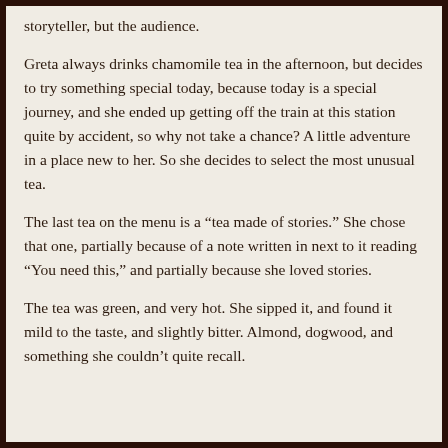storyteller, but the audience.

Greta always drinks chamomile tea in the afternoon, but decides to try something special today, because today is a special journey, and she ended up getting off the train at this station quite by accident, so why not take a chance? A little adventure in a place new to her. So she decides to select the most unusual tea.

The last tea on the menu is a “tea made of stories.” She chose that one, partially because of a note written in next to it reading “You need this,” and partially because she loved stories.

The tea was green, and very hot. She sipped it, and found it mild to the taste, and slightly bitter. Almond, dogwood, and something she couldn’t quite recall.